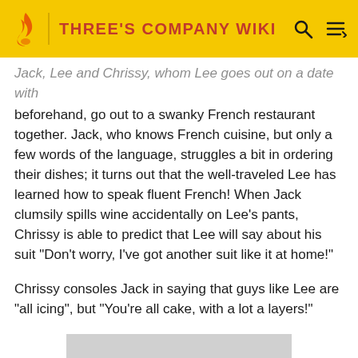THREE'S COMPANY WIKI
Jack, Lee and Chrissy, whom Lee goes out on a date with beforehand, go out to a swanky French restaurant together. Jack, who knows French cuisine, but only a few words of the language, struggles a bit in ordering their dishes; it turns out that the well-traveled Lee has learned how to speak fluent French! When Jack clumsily spills wine accidentally on Lee's pants, Chrissy is able to predict that Lee will say about his suit "Don't worry, I've got another suit like it at home!"
Chrissy consoles Jack in saying that guys like Lee are "all icing", but "You're all cake, with a lot a layers!"
[Figure (photo): Partially visible image placeholder at bottom of page]